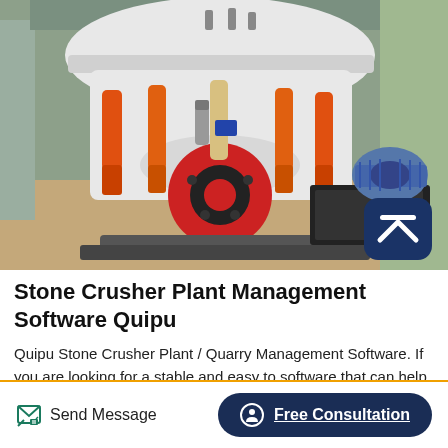[Figure (photo): A large white cone crusher machine with orange hydraulic cylinders and red wheel hub, sitting in an industrial building. A blue electric motor is visible to the right.]
Stone Crusher Plant Management Software Quipu
Quipu Stone Crusher Plant / Quarry Management Software. If you are looking for a stable and easy to software that can help you manage and automate your crusher or Quarry plant and to provide all required reports at glance, then talk to us. Quipu Crusher and
Send Message
Free Consultation